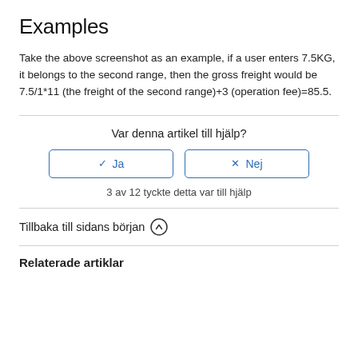Examples
Take the above screenshot as an example, if a user enters 7.5KG, it belongs to the second range, then the gross freight would be 7.5/1*11 (the freight of the second range)+3 (operation fee)=85.5.
Var denna artikel till hjälp?
✓ Ja  ×  Nej
3 av 12 tyckte detta var till hjälp
Tillbaka till sidans början ↑
Relaterade artiklar